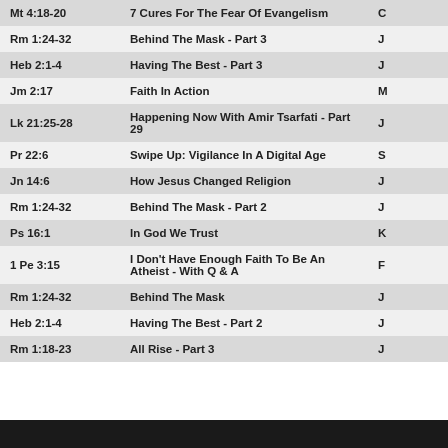| Scripture | Title | Speaker |
| --- | --- | --- |
| Mt 4:18-20 | 7 Cures For The Fear Of Evangelism | C… |
| Rm 1:24-32 | Behind The Mask - Part 3 | J… |
| Heb 2:1-4 | Having The Best - Part 3 | J… |
| Jm 2:17 | Faith In Action | M… |
| Lk 21:25-28 | Happening Now With Amir Tsarfati - Part 29 | J… |
| Pr 22:6 | Swipe Up: Vigilance In A Digital Age | S… |
| Jn 14:6 | How Jesus Changed Religion | J… |
| Rm 1:24-32 | Behind The Mask - Part 2 | J… |
| Ps 16:1 | In God We Trust | K… |
| 1 Pe 3:15 | I Don't Have Enough Faith To Be An Atheist - With Q & A | F… |
| Rm 1:24-32 | Behind The Mask | J… |
| Heb 2:1-4 | Having The Best - Part 2 | J… |
| Rm 1:18-23 | All Rise - Part 3 | J… |